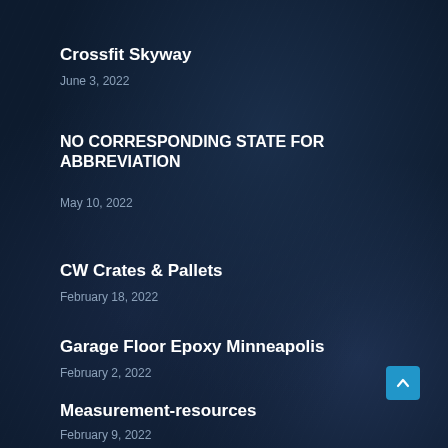Crossfit Skyway
June 3, 2022
NO CORRESPONDING STATE FOR ABBREVIATION
May 10, 2022
CW Crates & Pallets
February 18, 2022
Garage Floor Epoxy Minneapolis
February 2, 2022
Measurement-resources
February 9, 2022